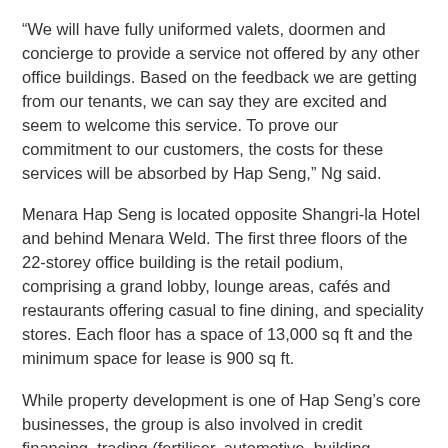“We will have fully uniformed valets, doormen and concierge to provide a service not offered by any other office buildings. Based on the feedback we are getting from our tenants, we can say they are excited and seem to welcome this service. To prove our commitment to our customers, the costs for these services will be absorbed by Hap Seng,” Ng said.
Menara Hap Seng is located opposite Shangri-la Hotel and behind Menara Weld. The first three floors of the 22-storey office building is the retail podium, comprising a grand lobby, lounge areas, cafés and restaurants offering casual to fine dining, and speciality stores. Each floor has a space of 13,000 sq ft and the minimum space for lease is 900 sq ft.
While property development is one of Hap Seng’s core businesses, the group is also involved in credit financing, trading (fertiliser, automotive, building materials and petroleum), quarries and plantations.
The group is one of the largest oil palm plantation companies in Sabah and an authorised dealer for Mercedes-Benz and